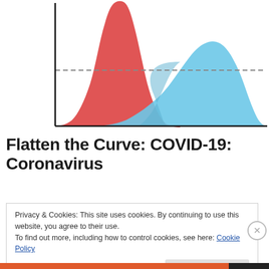[Figure (continuous-plot): Flatten the curve illustration showing two bell curves: a tall narrow red curve (without intervention) and a shorter wider light blue curve (with intervention/flattened), with a dashed horizontal line indicating healthcare system capacity. Black axes on left and bottom.]
Flatten the Curve: COVID-19: Coronavirus
Privacy & Cookies: This site uses cookies. By continuing to use this website, you agree to their use.
To find out more, including how to control cookies, see here: Cookie Policy
Close and accept